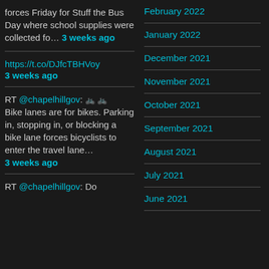forces Friday for Stuff the Bus Day where school supplies were collected fo… 3 weeks ago
https://t.co/DJfcTBHVoy
3 weeks ago
RT @chapelhillgov: 🚲 🚲 Bike lanes are for bikes. Parking in, stopping in, or blocking a bike lane forces bicyclists to enter the travel lane… 3 weeks ago
RT @chapelhillgov: Do
February 2022
January 2022
December 2021
November 2021
October 2021
September 2021
August 2021
July 2021
June 2021